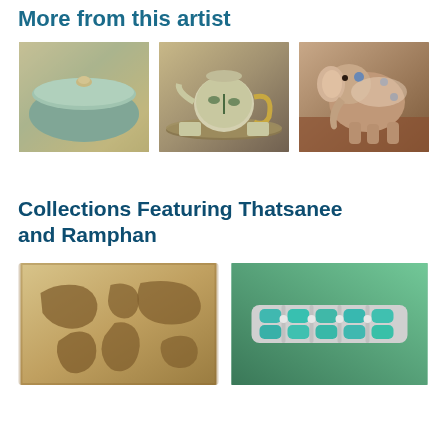More from this artist
[Figure (photo): Three product photos from the artist: a celadon ceramic bowl with lid, a decorative tea set with teapot and cups, and a painted ceramic elephant figurine]
Collections Featuring Thatsanee and Ramphan
[Figure (photo): Two collection photos: an aged world map illustration and a turquoise and silver bracelet]